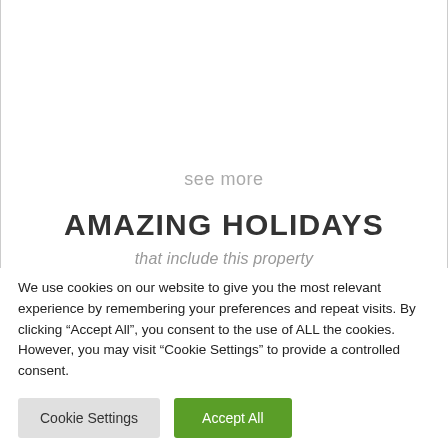see more
AMAZING HOLIDAYS
that include this property
We use cookies on our website to give you the most relevant experience by remembering your preferences and repeat visits. By clicking “Accept All”, you consent to the use of ALL the cookies. However, you may visit "Cookie Settings" to provide a controlled consent.
Cookie Settings
Accept All